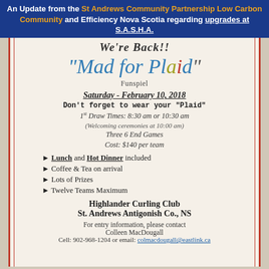An Update from the St Andrews Community Partnership Low Carbon Community and Efficiency Nova Scotia regarding upgrades at S.A.S.H.A.
We're Back!!
"Mad for Plaid"
Funspiel
Saturday - February 10, 2018
Don't forget to wear your "Plaid"
1st Draw Times: 8:30 am or 10:30 am
(Welcoming ceremonies at 10:00 am)
Three 6 End Games
Cost: $140 per team
► Lunch and Hot Dinner included
► Coffee & Tea on arrival
► Lots of Prizes
► Twelve Teams Maximum
Highlander Curling Club
St. Andrews Antigonish Co., NS
For entry information, please contact Colleen MacDougall Cell: 902-968-1204 or email: colmacdougall@eastlink.ca